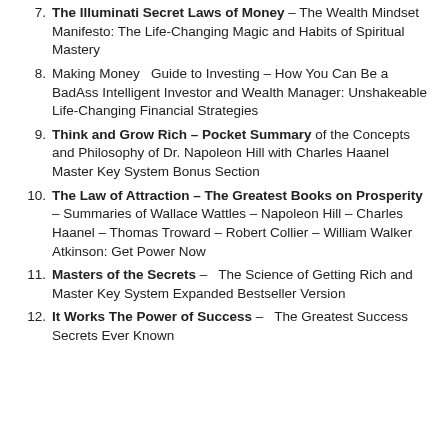7. The Illuminati Secret Laws of Money – The Wealth Mindset Manifesto: The Life-Changing Magic and Habits of Spiritual Mastery
8. Making Money Guide to Investing – How You Can Be a BadAss Intelligent Investor and Wealth Manager: Unshakeable Life-Changing Financial Strategies
9. Think and Grow Rich – Pocket Summary of the Concepts and Philosophy of Dr. Napoleon Hill with Charles Haanel Master Key System Bonus Section
10. The Law of Attraction – The Greatest Books on Prosperity – Summaries of Wallace Wattles – Napoleon Hill – Charles Haanel – Thomas Troward – Robert Collier – William Walker Atkinson: Get Power Now
11. Masters of the Secrets – The Science of Getting Rich and Master Key System Expanded Bestseller Version
12. It Works The Power of Success – The Greatest Success Secrets Ever Known